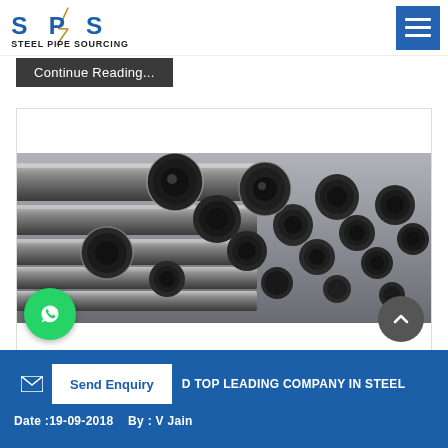[Figure (logo): Steel Pipe Sourcing logo with SPS text and lightning bolt graphic]
Continue Reading...
[Figure (photo): Stack of metallic steel pipes viewed from the end, showing circular cross-sections, silver-grey color]
C... D TOP LEADING COMPANY IN STEEL
Send Enquiry
Date :19-09-2018    By : V Jain